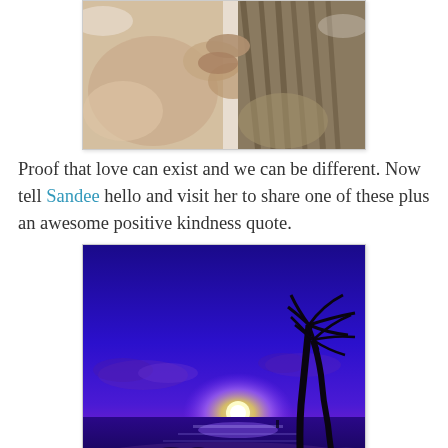[Figure (photo): A dog and a cat cuddling together on white bedding, paws intertwined]
Proof that love can exist and we can be different. Now tell Sandee hello and visit her to share one of these plus an awesome positive kindness quote.
[Figure (photo): A blue Hawaiian sunset with silhouetted palm trees on a beach, vivid blue and purple sky with a glowing sun on the horizon]
A blue Hawaiian sunset. This is a cool google image and although the newlyweds just returned from their fabulous Hawaiian honeymoon they did not get a lot of photos. Too busy doing too many things like snorkeling, visiting ther site